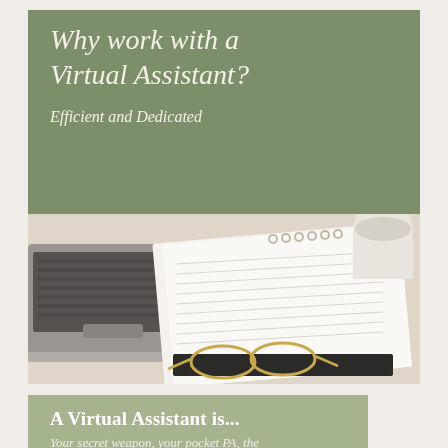Why work with a Virtual Assistant?
Efficient and Dedicated
[Figure (photo): A flat-lay workspace photo showing a laptop computer on the left, an open spiral notebook with handwritten notes in the center-right, a white mug in the background, and gold-framed glasses resting in the foreground, all on a light surface.]
A Virtual Assistant is...
Your secret weapon, your pocket PA, the one who is going to save you time. You'll